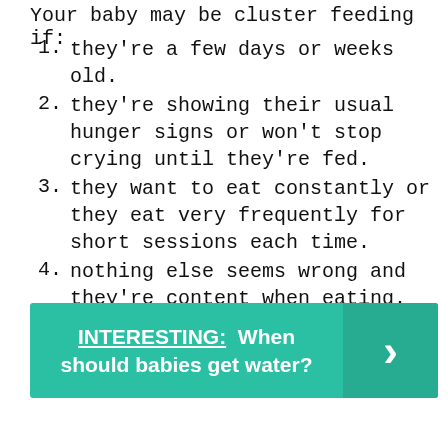Your baby may be cluster feeding if:
they're a few days or weeks old.
they're showing their usual hunger signs or won't stop crying until they're fed.
they want to eat constantly or they eat very frequently for short sessions each time.
nothing else seems wrong and they're content when eating.
INTERESTING:  When should babies get water?